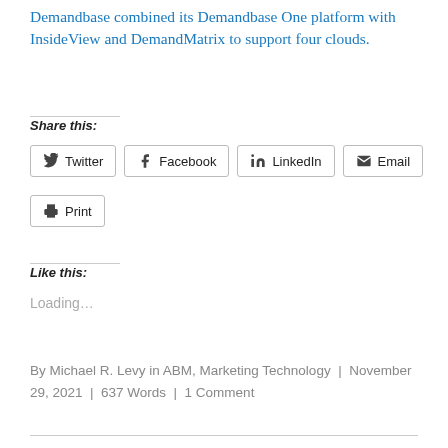Demandbase combined its Demandbase One platform with InsideView and DemandMatrix to support four clouds.
Share this:
Twitter | Facebook | LinkedIn | Email | Print
Like this:
Loading...
By Michael R. Levy in ABM, Marketing Technology | November 29, 2021 | 637 Words | 1 Comment